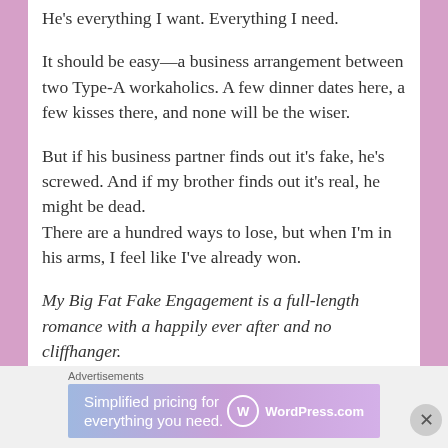He's everything I want. Everything I need.
It should be easy—a business arrangement between two Type-A workaholics. A few dinner dates here, a few kisses there, and none will be the wiser.
But if his business partner finds out it's fake, he's screwed. And if my brother finds out it's real, he might be dead.
There are a hundred ways to lose, but when I'm in his arms, I feel like I've already won.
My Big Fat Fake Engagement is a full-length romance with a happily ever after and no cliffhanger.
Advertisements
[Figure (screenshot): WordPress.com advertisement banner with text 'Simplified pricing for everything you need.']